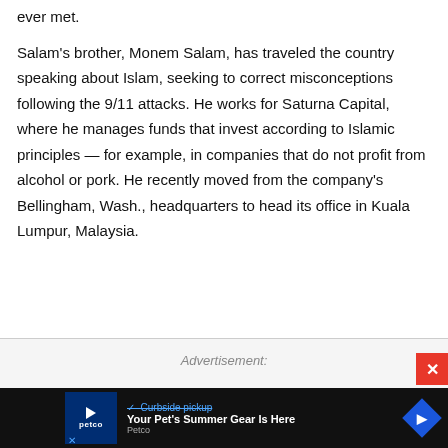ever met.
Salam's brother, Monem Salam, has traveled the country speaking about Islam, seeking to correct misconceptions following the 9/11 attacks. He works for Saturna Capital, where he manages funds that invest according to Islamic principles — for example, in companies that do not profit from alcohol or pork. He recently moved from the company's Bellingham, Wash., headquarters to head its office in Kuala Lumpur, Malaysia.
Advertisement:
[Figure (other): Petco advertisement banner showing 'Your Pet's Summer Gear Is Here' with Petco logo and navigation arrow icon]